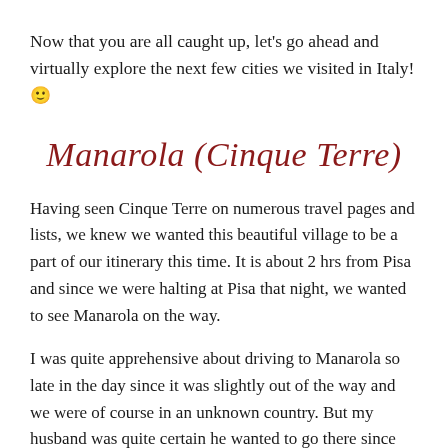Now that you are all caught up, let's go ahead and virtually explore the next few cities we visited in Italy! 🙂
Manarola (Cinque Terre)
Having seen Cinque Terre on numerous travel pages and lists, we knew we wanted this beautiful village to be a part of our itinerary this time. It is about 2 hrs from Pisa and since we were halting at Pisa that night, we wanted to see Manarola on the way.
I was quite apprehensive about driving to Manarola so late in the day since it was slightly out of the way and we were of course in an unknown country. But my husband was quite certain he wanted to go there since it's not everyday